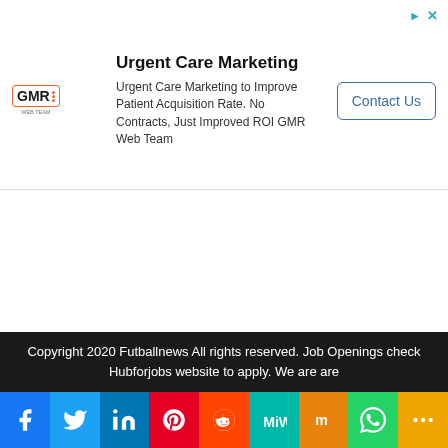[Figure (screenshot): Web advertisement banner for Urgent Care Marketing by GMR Web Team. Contains GMR logo, headline 'Urgent Care Marketing', body text, and a 'Contact Us' button.]
Urgent Care Marketing
Urgent Care Marketing to Improve Patient Acquisition Rate. No Contracts, Just Improved ROI GMR Web Team
Contact Us
Copyright 2020 Futballnews All rights reserved. Job Openings check Hubforjobs website to apply. We are are
[Figure (infographic): Social sharing buttons bar: Facebook, Twitter, LinkedIn, Pinterest, Reddit, MeWe, Mix, WhatsApp, More]